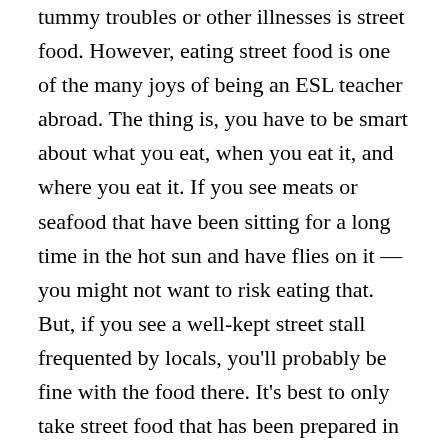tummy troubles or other illnesses is street food. However, eating street food is one of the many joys of being an ESL teacher abroad. The thing is, you have to be smart about what you eat, when you eat it, and where you eat it. If you see meats or seafood that have been sitting for a long time in the hot sun and have flies on it —you might not want to risk eating that. But, if you see a well-kept street stall frequented by locals, you'll probably be fine with the food there. It's best to only take street food that has been prepared in front of you—like Thailand's banana pancakes or China's yang rou chuan (barbecued mutton sticks). If you take a meat dish, make sure that the meat has been on ice before it's prepared. Observe how well the